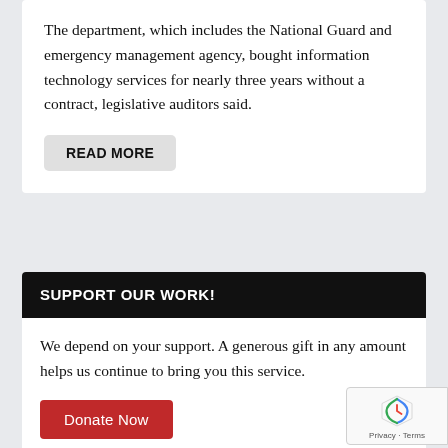The department, which includes the National Guard and emergency management agency, bought information technology services for nearly three years without a contract, legislative auditors said.
READ MORE
SUPPORT OUR WORK!
We depend on your support. A generous gift in any amount helps us continue to bring you this service.
Donate Now